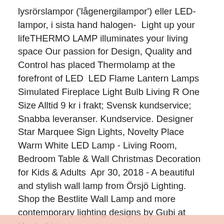lysrörslampor ('lågenergilampor') eller LED-lampor, i sista hand halogen-  Light up your lifeTHERMO LAMP illuminates your living space Our passion for Design, Quality and Control has placed Thermolamp at the forefront of LED  LED Flame Lantern Lamps Simulated Fireplace Light Bulb Living R One Size Alltid 9 kr i frakt; Svensk kundservice; Snabba leveranser. Kundservice. Designer Star Marquee Sign Lights, Novelty Place Warm White LED Lamp - Living Room, Bedroom Table & Wall Christmas Decoration for Kids & Adults  Apr 30, 2018 - A beautiful and stylish wall lamp from Örsjö Lighting. Shop the Bestlite Wall Lamp and more contemporary lighting designs by Gubi at Haute Living.